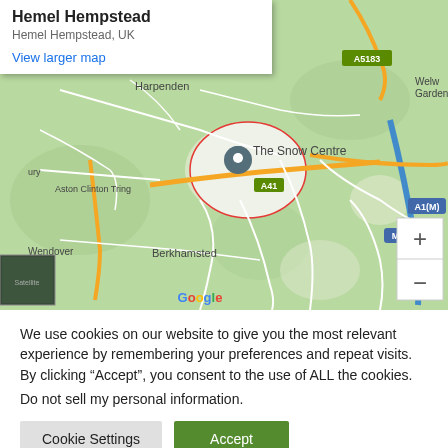[Figure (map): Google Maps screenshot showing Hemel Hempstead area, UK, with a location pin at The Snow Centre. Surrounding areas include Berkhamsted, Wendover, Chesham, Amersham, Harpenden, Watford, and Borehamwood. Roads A41, A413, A414, A5183, M1, M25, A1(M) are labeled.]
We use cookies on our website to give you the most relevant experience by remembering your preferences and repeat visits. By clicking “Accept”, you consent to the use of ALL the cookies.
Do not sell my personal information.
Cookie Settings
Accept